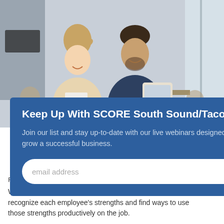[Figure (photo): Two people smiling and looking at a tablet/document together in an office setting, with other people in the background.]
Keep Up With SCORE South Sound/Tacoma
Join our list and stay up-to-date with our live webinars designed to help you start and grow a successful business.
email address  SUBMIT
February 27, 2019, Rieva Lesonsky
What is strengths-based company culture? Learn how to recognize each employee's strengths and find ways to use those strengths productively on the job.